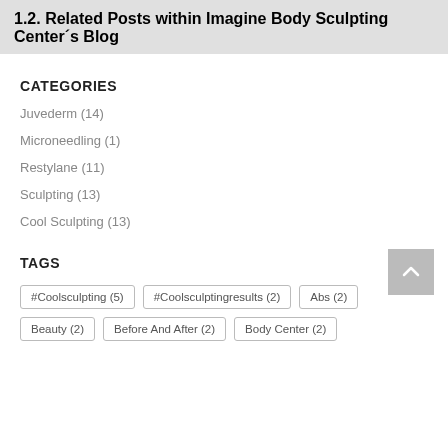1.2. Related Posts within Imagine Body Sculpting Center´s Blog
CATEGORIES
Juvederm (14)
Microneedling (1)
Restylane (11)
Sculpting (13)
Cool Sculpting (13)
TAGS
#Coolsculpting (5)
#Coolsculptingresults (2)
Abs (2)
Beauty (2)
Before And After (2)
Body Center (2)